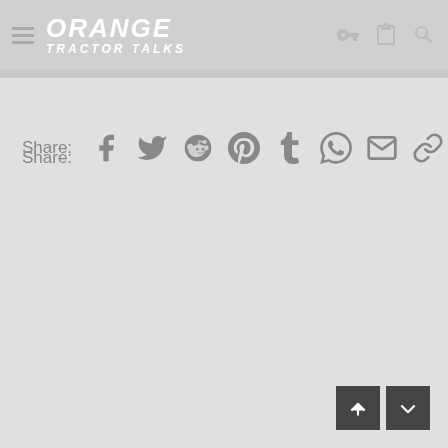[Figure (logo): Orange Tractor Talks website header with logo, hamburger menu, and icons]
Share:
[Figure (infographic): Social share icons: Facebook, Twitter, Reddit, Pinterest, Tumblr, WhatsApp, Email, Link]